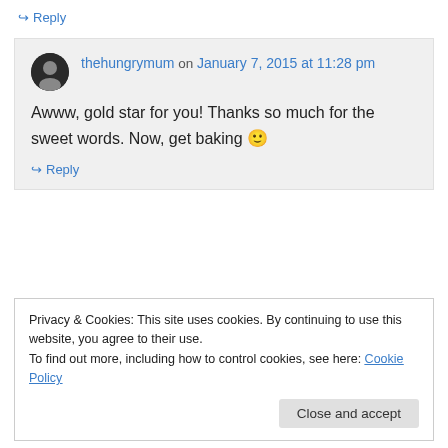↪ Reply
thehungrymum on January 7, 2015 at 11:28 pm
Awww, gold star for you! Thanks so much for the sweet words. Now, get baking 🙂
↪ Reply
Privacy & Cookies: This site uses cookies. By continuing to use this website, you agree to their use. To find out more, including how to control cookies, see here: Cookie Policy
Close and accept